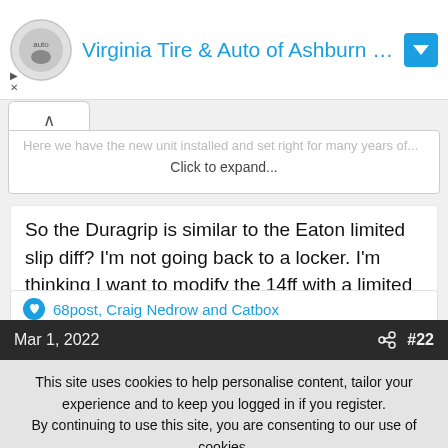[Figure (other): Advertisement banner for Virginia Tire & Auto of Ashburn with logo and blue arrow icon]
Here we have the new unit installed and set right for many years of...
Click to expand...
So the Duragrip is similar to the Eaton limited slip diff? I'm not going back to a locker. I'm thinking I want to modify the 14ff with a limited slip and disc brakes if practical. I don't care for the humongous drums (#50/side). The ride quality between the SF and FF is night and day.
68post, Craig Nedrow and Catbox
Mar 1, 2022  #22
This site uses cookies to help personalise content, tailor your experience and to keep you logged in if you register.
By continuing to use this site, you are consenting to our use of cookies.
✓ Accept
Learn more...